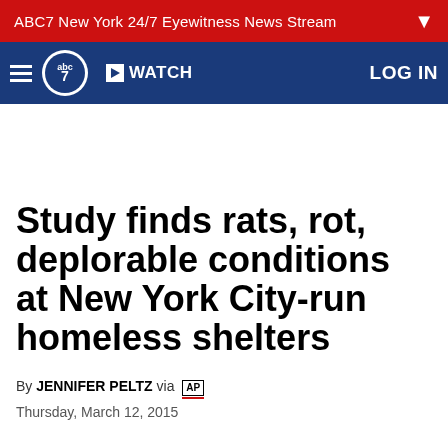ABC7 New York 24/7 Eyewitness News Stream
[Figure (logo): ABC7 navigation bar with hamburger menu, ABC7 logo, WATCH button, and LOG IN link on navy background]
Study finds rats, rot, deplorable conditions at New York City-run homeless shelters
By JENNIFER PELTZ via AP
Thursday, March 12, 2015